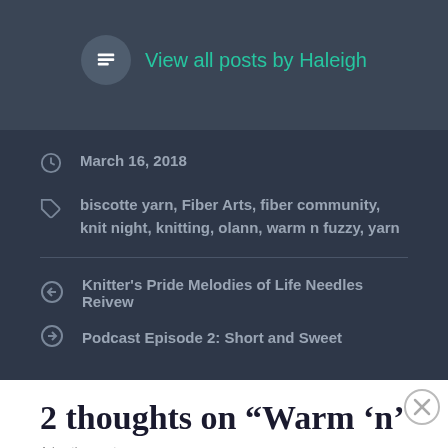View all posts by Haleigh
March 16, 2018
biscotte yarn, Fiber Arts, fiber community, knit night, knitting, olann, warm n fuzzy, yarn
Knitter's Pride Melodies of Life Needles Reivew
Podcast Episode 2: Short and Sweet
2 thoughts on “Warm ‘n’
Advertisements
[Figure (other): WooCommerce advertisement banner: Turn your hobby into a business in 8 steps]